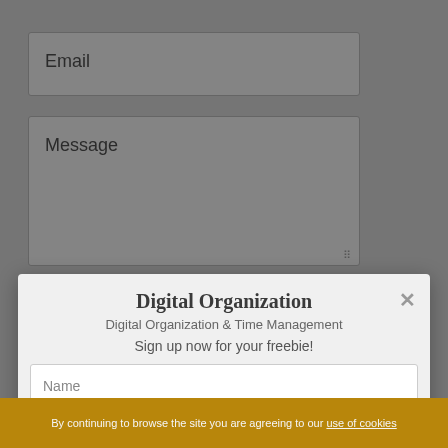Email
Message
Please confirm you are human and not a bot.
I'm not a robot
reCAPTCHA
Privacy - Terms
Digital Organization
Digital Organization & Time Management
Sign up now for your freebie!
Name
Email
SUBSCRIBE
By continuing to browse the site you are agreeing to our use of cookies